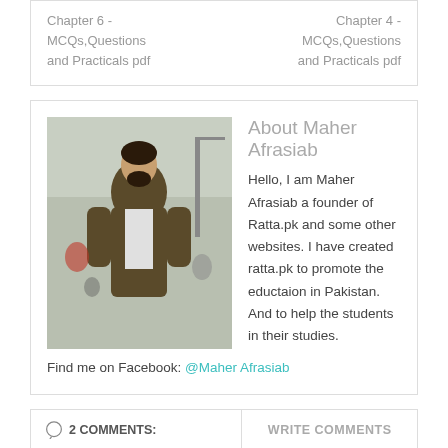Chapter 6 - MCQs,Questions and Practicals pdf
Chapter 4 - MCQs,Questions and Practicals pdf
About Maher Afrasiab
Hello, I am Maher Afrasiab a founder of Ratta.pk and some other websites. I have created ratta.pk to promote the eductaion in Pakistan. And to help the students in their studies. Find me on Facebook: @Maher Afrasiab
2 COMMENTS:
WRITE COMMENTS
Aina Khan
26 September 2017 at 08:22